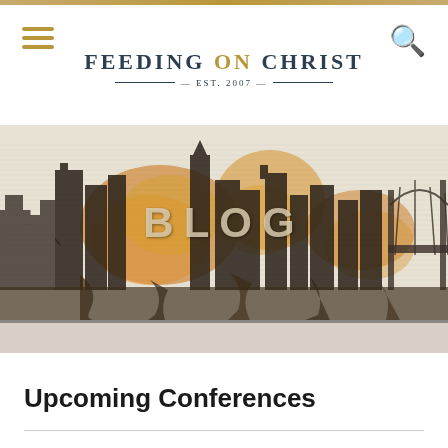FEEDING ON CHRIST — EST. 2007 —
[Figure (illustration): City skyline banner illustration with warm brown and gold tones, watercolor/artistic style, with the word BLOG overlaid in the center]
Upcoming Conferences